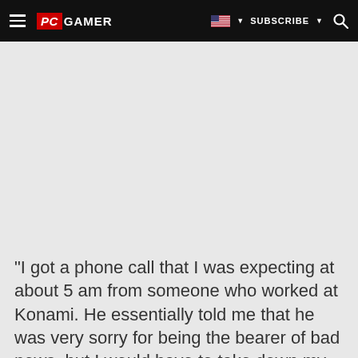PC GAMER | SUBSCRIBE
[Figure (other): Grey advertisement/image placeholder area]
"I got a phone call that I was expecting at about 5 am from someone who worked at Konami. He essentially told me that he was very sorry for being the bearer of bad news, but I would have to take down my remake," Qimsar wrote. "I was told that he and many other people at Konami saw and really liked my remake, but